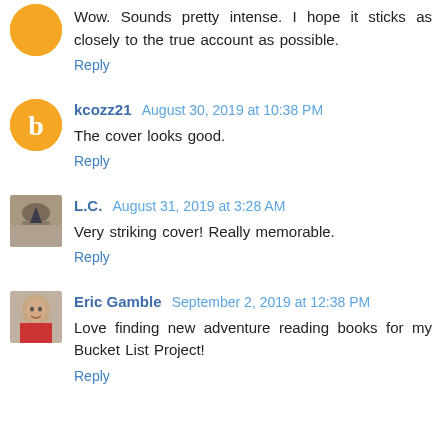Wow. Sounds pretty intense. I hope it sticks as closely to the true account as possible.
Reply
kcozz21  August 30, 2019 at 10:38 PM
The cover looks good.
Reply
L.C.  August 31, 2019 at 3:28 AM
Very striking cover! Really memorable.
Reply
Eric Gamble  September 2, 2019 at 12:38 PM
Love finding new adventure reading books for my Bucket List Project!
Reply